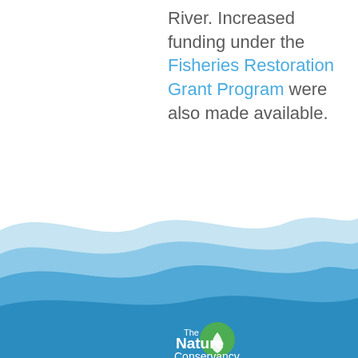Sacramento River. Increased funding under the Fisheries Restoration Grant Program were also made available.
[Figure (illustration): Decorative wave design in shades of light blue and medium blue forming the bottom portion of the page, with The Nature Conservancy logo at the bottom center]